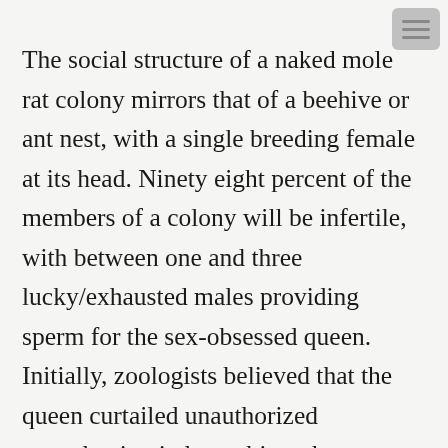The social structure of a naked mole rat colony mirrors that of a beehive or ant nest, with a single breeding female at its head. Ninety eight percent of the members of a colony will be infertile, with between one and three lucky/exhausted males providing sperm for the sex-obsessed queen. Initially, zoologists believed that the queen curtailed unauthorized reproduction in her subjects by chemical methods, using pheromones in her urine to suppress ovulation in subordinate females. Although odours do